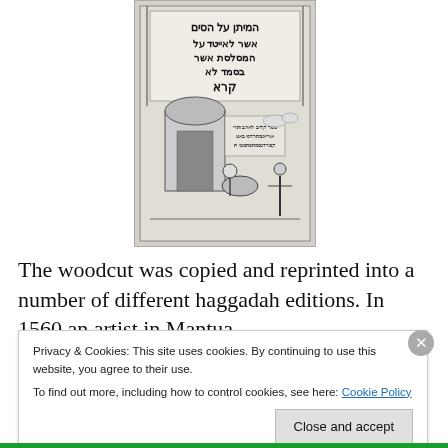[Figure (photo): Black and white photograph of a woodcut image from a historical Haggadah. The woodcut features Hebrew text at the top in decorative lettering, an architectural scene with a domed building (gate/arch), and figures including a person riding a donkey and a standing robed figure, in a medieval illustrative style.]
The woodcut was copied and reprinted into a number of different haggadah editions. In 1560 an artist in Mantua
Privacy & Cookies: This site uses cookies. By continuing to use this website, you agree to their use.
To find out more, including how to control cookies, see here: Cookie Policy